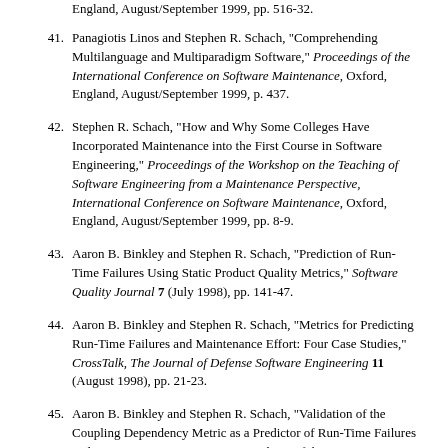England, August/September 1999, pp. 516-32.
41. Panagiotis Linos and Stephen R. Schach, "Comprehending Multilanguage and Multiparadigm Software," Proceedings of the International Conference on Software Maintenance, Oxford, England, August/September 1999, p. 437.
42. Stephen R. Schach, "How and Why Some Colleges Have Incorporated Maintenance into the First Course in Software Engineering," Proceedings of the Workshop on the Teaching of Software Engineering from a Maintenance Perspective, International Conference on Software Maintenance, Oxford, England, August/September 1999, pp. 8-9.
43. Aaron B. Binkley and Stephen R. Schach, "Prediction of Run-Time Failures Using Static Product Quality Metrics," Software Quality Journal 7 (July 1998), pp. 141-47.
44. Aaron B. Binkley and Stephen R. Schach, "Metrics for Predicting Run-Time Failures and Maintenance Effort: Four Case Studies," CrossTalk, The Journal of Defense Software Engineering 11 (August 1998), pp. 21-23.
45. Aaron B. Binkley and Stephen R. Schach, "Validation of the Coupling Dependency Metric as a Predictor of Run-Time Failures and Maintenance Measures," Proceedings of the